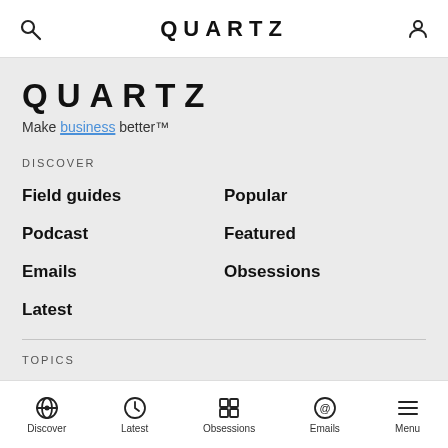QUARTZ
QUARTZ
Make business better™
DISCOVER
Field guides
Popular
Podcast
Featured
Emails
Obsessions
Latest
TOPICS
Emerging industries
Science
Economics
Tech
Lifestyle
Work
Discover | Latest | Obsessions | Emails | Menu